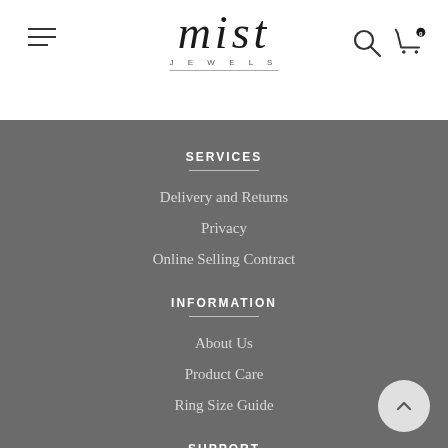[Figure (logo): Mist Jewels logo with italic serif wordmark and 'JEWELS' subtitle]
SERVICES
Delivery and Returns
Privacy
Online Selling Contract
INFORMATION
About Us
Product Care
Ring Size Guide
SUPPORT